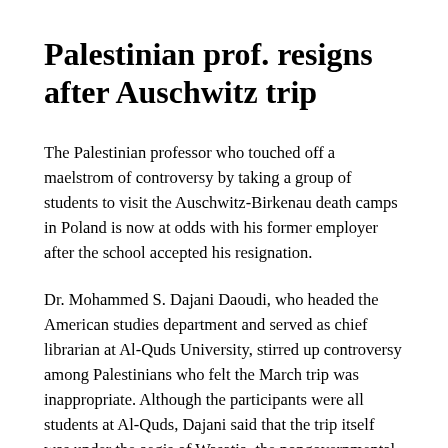Palestinian prof. resigns after Auschwitz trip
The Palestinian professor who touched off a maelstrom of controversy by taking a group of students to visit the Auschwitz-Birkenau death camps in Poland is now at odds with his former employer after the school accepted his resignation.
Dr. Mohammed S. Dajani Daoudi, who headed the American studies department and served as chief librarian at Al-Quds University, stirred up controversy among Palestinians who felt the March trip was inappropriate. Although the participants were all students at Al-Quds, Dajani said that the trip itself was under the aegis of Wasatia, the nongovernmental organization that he heads whose